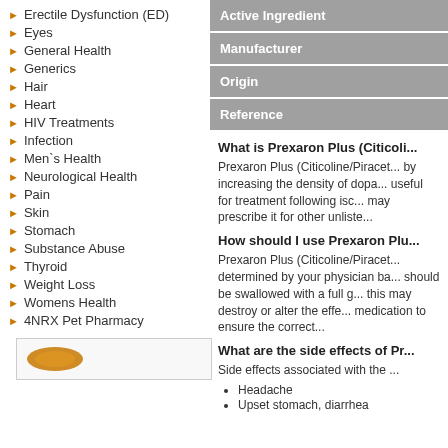Erectile Dysfunction (ED)
Eyes
General Health
Generics
Hair
Heart
HIV Treatments
Infection
Men`s Health
Neurological Health
Pain
Skin
Stomach
Substance Abuse
Thyroid
Weight Loss
Womens Health
4NRX Pet Pharmacy
| Active Ingredient | Manufacturer | Origin | Reference |
| --- | --- | --- | --- |
What is Prexaron Plus (Citicoli...
Prexaron Plus (Citicoline/Piracet... by increasing the density of dopa... useful for treatment following isc... may prescribe it for other unliste...
How should I use Prexaron Plu...
Prexaron Plus (Citicoline/Piracet... determined by your physician ba... should be swallowed with a full g... this may destroy or alter the effe... medication to ensure the correct...
What are the side effects of Pr...
Side effects associated with the ...
Headache
Upset stomach, diarrhea
[Figure (photo): Pill image at bottom left of page]